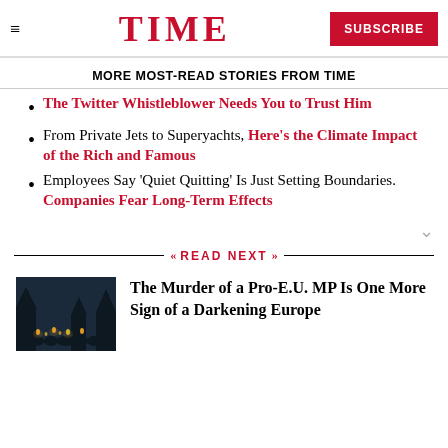TIME | SUBSCRIBE
MORE MOST-READ STORIES FROM TIME
The Twitter Whistleblower Needs You to Trust Him
From Private Jets to Superyachts, Here's the Climate Impact of the Rich and Famous
Employees Say 'Quiet Quitting' Is Just Setting Boundaries. Companies Fear Long-Term Effects
READ NEXT
[Figure (photo): Nighttime candlelight vigil with people gathered outdoors]
The Murder of a Pro-E.U. MP Is One More Sign of a Darkening Europe